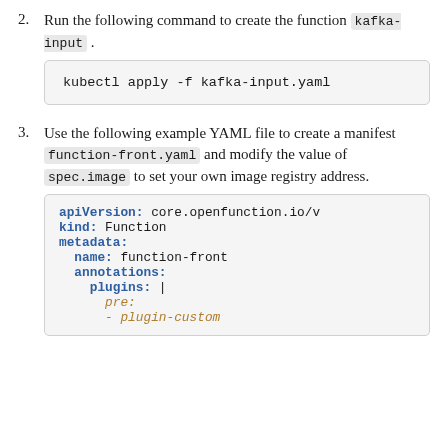2. Run the following command to create the function kafka-input .
kubectl apply -f kafka-input.yaml
3. Use the following example YAML file to create a manifest function-front.yaml and modify the value of spec.image to set your own image registry address.
apiVersion: core.openfunction.io/v
kind: Function
metadata:
  name: function-front
  annotations:
    plugins: |
      pre:
      - plugin-custom